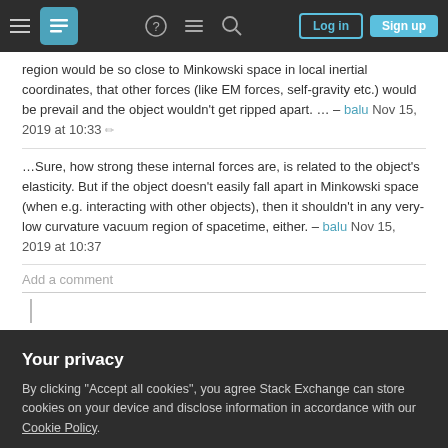Stack Exchange navigation bar with Log in and Sign up buttons
region would be so close to Minkowski space in local inertial coordinates, that other forces (like EM forces, self-gravity etc.) would be prevail and the object wouldn't get ripped apart. … – balu Nov 15, 2019 at 10:33
…Sure, how strong these internal forces are, is related to the object's elasticity. But if the object doesn't easily fall apart in Minkowski space (when e.g. interacting with other objects), then it shouldn't in any very-low curvature vacuum region of spacetime, either. – balu Nov 15, 2019 at 10:37
Add a comment
Your privacy
By clicking "Accept all cookies", you agree Stack Exchange can store cookies on your device and disclose information in accordance with our Cookie Policy.
Accept all cookies
Customize settings
see the infalling observer reaching the horizon. So, after